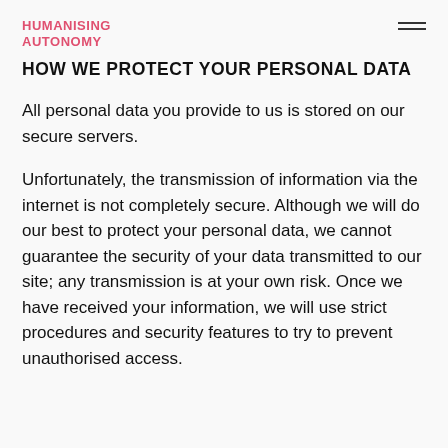HUMANISING AUTONOMY
HOW WE PROTECT YOUR PERSONAL DATA
All personal data you provide to us is stored on our secure servers.
Unfortunately, the transmission of information via the internet is not completely secure. Although we will do our best to protect your personal data, we cannot guarantee the security of your data transmitted to our site; any transmission is at your own risk. Once we have received your information, we will use strict procedures and security features to try to prevent unauthorised access.